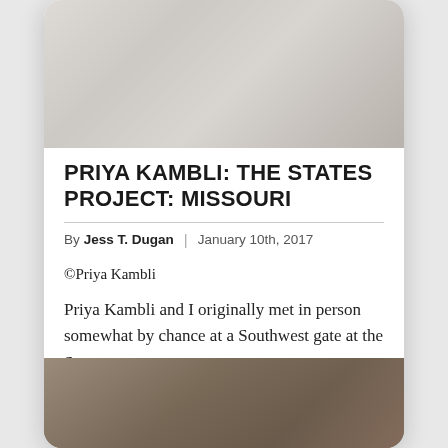[Figure (photo): Top portion of a photograph showing a light gray/white textured surface, appears to be fabric or paper with soft tonal variations.]
PRIYA KAMBLI: THE STATES PROJECT: MISSOURI
By Jess T. Dugan | January 10th, 2017
©Priya Kambli
Priya Kambli and I originally met in person somewhat by chance at a Southwest gate at the St.
[Figure (photo): Bottom portion of a photograph showing a person's arm/body in muted olive/brown tones, partially cropped at the bottom of the page.]